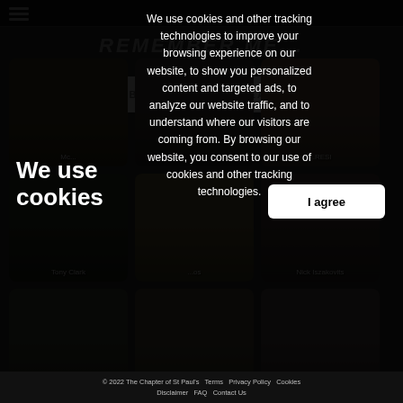REMEMBER ME...
[Figure (screenshot): Website screenshot showing a grid of person profile photo cards with names Tony Clark, Nick Iszakovits, Michael Roden, Paul Fisher, and partially visible others. There is a search bar with SUBMIT and SEARCH buttons overlaid.]
We use cookies
We use cookies and other tracking technologies to improve your browsing experience on our website, to show you personalized content and targeted ads, to analyze our website traffic, and to understand where our visitors are coming from. By browsing our website, you consent to our use of cookies and other tracking technologies.
I agree
© 2022 The Chapter of St Paul's   Terms   Privacy Policy   Cookies Disclaimer   FAQ   Contact Us